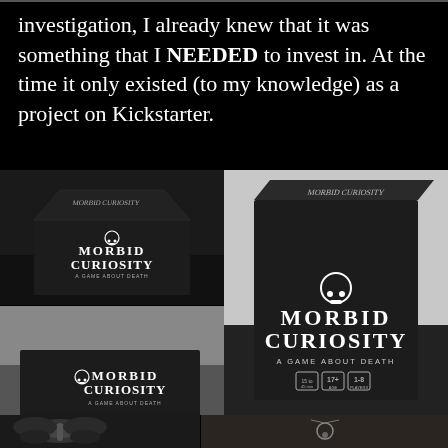investigation, I already knew that it was something that I NEEDED to invest in. At the time it only existed (to my knowledge) as a project on Kickstarter.
[Figure (photo): Four photos arranged in a grid showing the 'Morbid Curiosity: A Game About Death' board game box from different angles on a dark surface.]
[Figure (photo): Partial view of two additional photos at the bottom — one showing a moth/butterfly image, and one showing a necklace or jewelry item.]